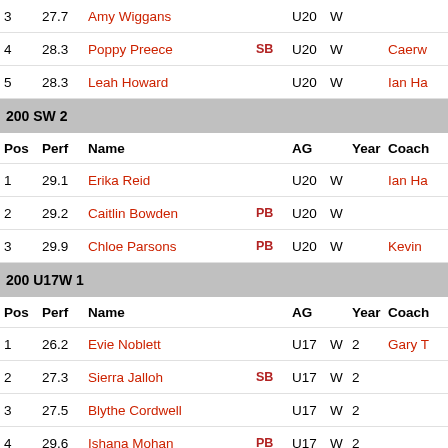| Pos | Perf | Name |  | AG |  | Year | Coach |
| --- | --- | --- | --- | --- | --- | --- | --- |
| 3 | 27.7 | Amy Wiggans |  | U20 | W |  |  |
| 4 | 28.3 | Poppy Preece | SB | U20 | W |  | Caerw |
| 5 | 28.3 | Leah Howard |  | U20 | W |  | Ian Ha |
200 SW 2
| Pos | Perf | Name |  | AG |  | Year | Coach |
| --- | --- | --- | --- | --- | --- | --- | --- |
| 1 | 29.1 | Erika Reid |  | U20 | W |  | Ian Ha |
| 2 | 29.2 | Caitlin Bowden | PB | U20 | W |  |  |
| 3 | 29.9 | Chloe Parsons | PB | U20 | W |  | Kevin |
200 U17W 1
| Pos | Perf | Name |  | AG |  | Year | Coach |
| --- | --- | --- | --- | --- | --- | --- | --- |
| 1 | 26.2 | Evie Noblett |  | U17 | W | 2 | Gary T |
| 2 | 27.3 | Sierra Jalloh | SB | U17 | W | 2 |  |
| 3 | 27.5 | Blythe Cordwell |  | U17 | W | 2 |  |
| 4 | 29.6 | Ishana Mohan | PB | U17 | W | 2 |  |
| 5 | 30.2 | Abbie Whitehead | PB | U17 | W | 1 |  |
200 U17W 2
| Pos | Perf | Name |  | AG |  | Year | Coach |
| --- | --- | --- | --- | --- | --- | --- | --- |
| 1 | 27.7 | Lauren Byrne | PB | U17 | W | 1 | Barrie |
| 2 | 29.5 | Louise Hallewell | PB | U17 | W | 1 |  |
| 3 | 30.1 | Alayana Ahmed |  | U17 | W | 1 |  |
| 4 | 31.4 | Lara Ingram-Weston | PB | U17 | W | 2 |  |
| 5 | 32.0 | Alexa Donnelly | PB | U17 | W | 1 |  |
200 U15W 1